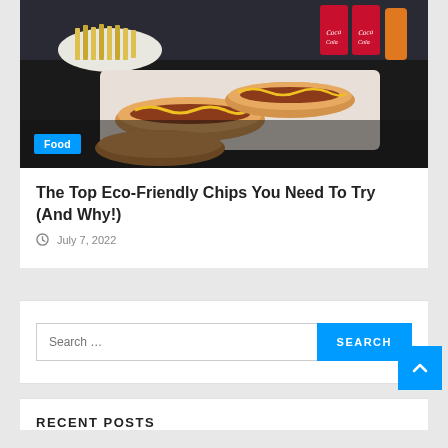[Figure (photo): Photo of hot dogs with mustard on a tray, with french fries and Coca-Cola cans in the background. A blue 'Food' badge is overlaid at the bottom left.]
The Top Eco-Friendly Chips You Need To Try (And Why!)
July 7, 2022
Search ...
RECENT POSTS